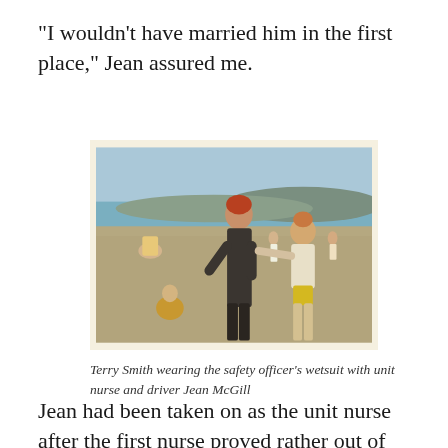“I wouldn’t have married him in the first place,” Jean assured me.
[Figure (photo): Vintage beach photograph showing Terry Smith wearing a dark safety officer's wetsuit standing with unit nurse and driver Jean McGill on a pebble beach. A child in yellow crouches in the foreground, other beachgoers visible in the background, hills visible across the water.]
Terry Smith wearing the safety officer’s wetsuit with unit nurse and driver Jean McGill
Jean had been taken on as the unit nurse after the first nurse proved rather out of her depth. I